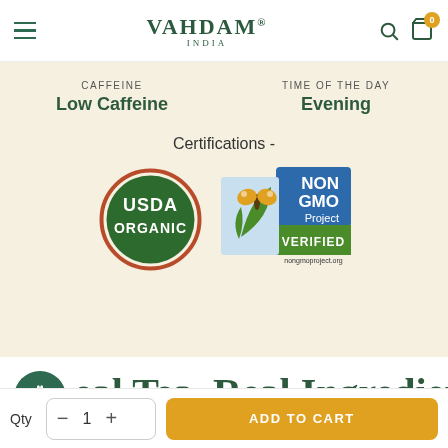VAHDAM® INDIA
CAFFEINE: Low Caffeine | TIME OF THE DAY: Evening
Certifications -
[Figure (logo): USDA Organic certification seal - circular brown/red border with green center, text USDA ORGANIC]
[Figure (logo): Non GMO Project Verified badge - blue and green with butterfly, text NON GMO Project VERIFIED nongmoproject.org]
Real Tea. Real Ingredients.
Qty  −  1  +  ADD TO CART